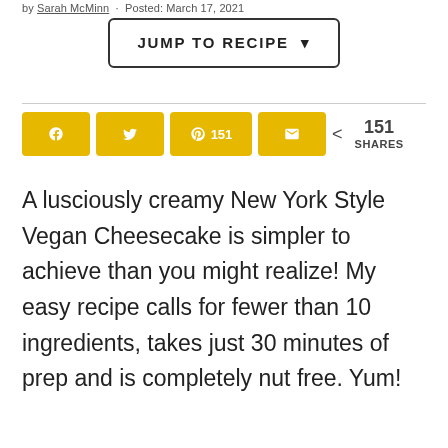by Sarah McMinn · Posted: March 17, 2021
JUMP TO RECIPE ↓
[Figure (other): Social share buttons row: Facebook, Twitter, Pinterest (151), Email in yellow, plus share count 151 SHARES]
A lusciously creamy New York Style Vegan Cheesecake is simpler to achieve than you might realize! My easy recipe calls for fewer than 10 ingredients, takes just 30 minutes of prep and is completely nut free. Yum!